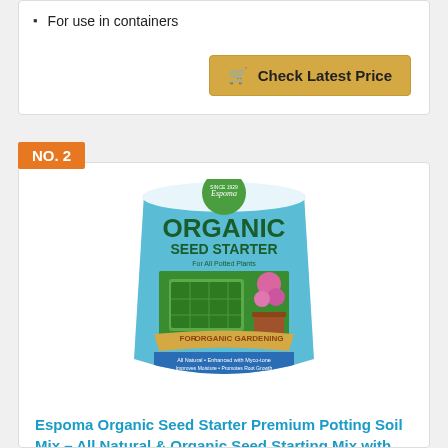For use in containers
Check Latest Price
NO. 2
[Figure (photo): Espoma Organic Seed Starter Premium Potting Soil Mix bag product photo]
Espoma Organic Seed Starter Premium Potting Soil Mix – All Natural & Organic Seed Starting Mix with Mycorrhizae, For Organic Gardening